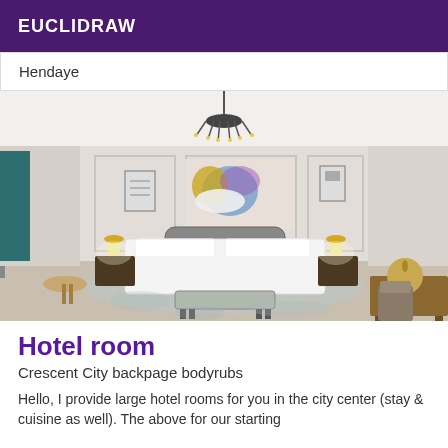EUCLIDRAW
Hendaye
[Figure (photo): Elegant hotel room with ornate chandelier, large bed with white linens, colorful abstract painting above headboard, dark wood nightstands with lamps, bench at foot of bed, desk and chair in right foreground, patterned carpet.]
Hotel room
Crescent City backpage bodyrubs
Hello, I provide large hotel rooms for you in the city center (stay & cuisine as well). The above for our starting